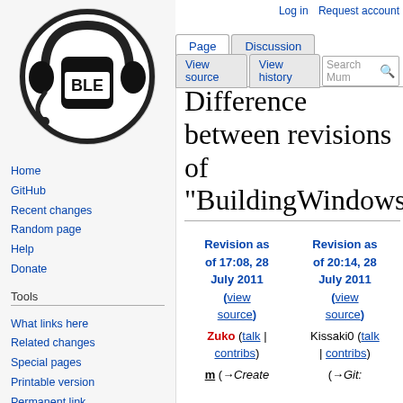[Figure (logo): MBLE wiki logo: circular black and white icon with headphones and BLE text]
Home
GitHub
Recent changes
Random page
Help
Donate
Tools
What links here
Related changes
Special pages
Printable version
Permanent link
Page information
Log in  Request account
Difference between revisions of "BuildingWindows
| Revision as of 17:08, 28 July 2011 (view source) | Revision as of 20:14, 28 July 2011 (view source) |
| --- | --- |
| Zuko (talk | contribs) | Kissaki0 (talk | contribs) |
| m (→Create | (→Git: |